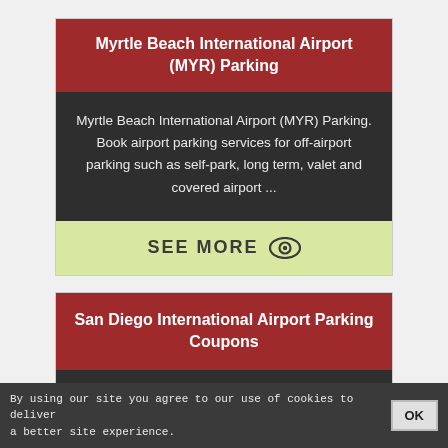Myrtle Beach International Airport (MYR) Parking
Myrtle Beach International Airport (MYR) Parking. Book airport parking services for off-airport parking such as self-park, long term, valet and covered airport ...
SEE MORE
San Diego International Airport Parking Coupons
By using our site you agree to our use of cookies to deliver a better site experience.